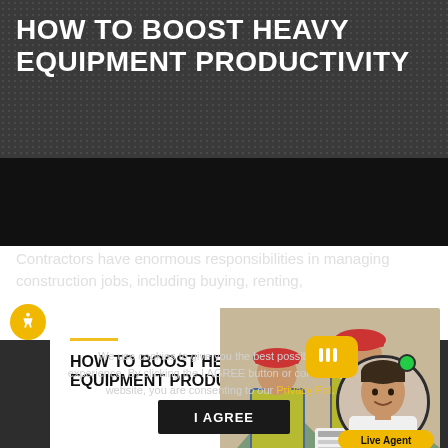HOW TO BOOST HEAVY EQUIPMENT PRODUCTIVITY
Contractors have enormous responsibilities in managing construction jobs, including buying, renting,
[Figure (illustration): Promotional card showing two construction workers in hard hats and high-visibility vests, with the text 'HOW TO BOOST HEAVY EQUIPMENT PRODUCTIVITY' overlaid on left side with a yellow decorative line above it.]
We use cookies to give you the best possible online experience. By clicking the I AGREE button or continuing on this website, you are consenting to our Privacy Pol…
I AGREE